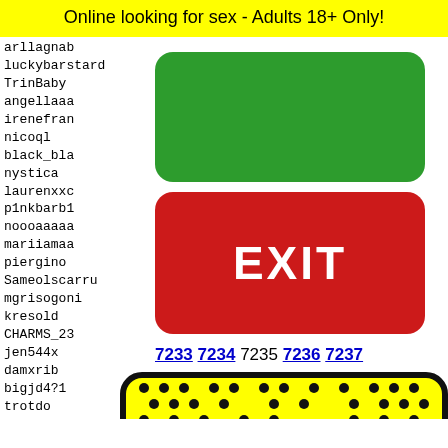Online looking for sex - Adults 18+ Only!
arllagnab
luckybarstard
TrinBaby
angellaaa
irenefran
nicoql
black_bla
nystica
laurenxxc
p1nkbarb1
noooaaaaa
mariiamaa
piergino
Sameolscarru
mgrisogoni
kresold
CHARMS_23
jen544x
damxrib
bigjd4?1
trotdo
601bab
estefa
cherry
a-horn
alain1
[Figure (other): Green rounded rectangle button (no label)]
[Figure (other): Red rounded rectangle EXIT button]
7233 7234 7235 7236 7237
[Figure (illustration): Yellow rounded rectangle with black border, black dot pattern, cartoon frog face at bottom]